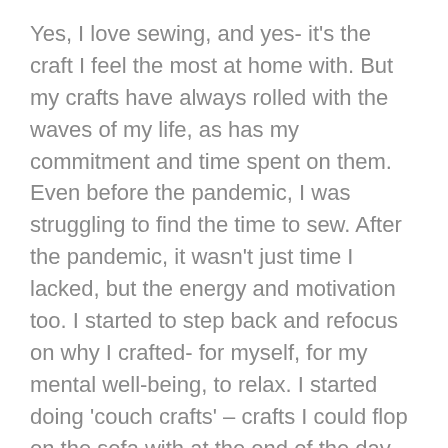Yes, I love sewing, and yes- it's the craft I feel the most at home with. But my crafts have always rolled with the waves of my life, as has my commitment and time spent on them. Even before the pandemic, I was struggling to find the time to sew. After the pandemic, it wasn't just time I lacked, but the energy and motivation too. I started to step back and refocus on why I crafted- for myself, for my mental well-being, to relax. I started doing 'couch crafts' – crafts I could flop on the sofa with at the end of the day, when I couldn't bring myself to sit at the machine. Crafts that gave me something else to think about when the world (and my work) revolved around the pandemic. But with sharing those there became a shift in the way people responded to my posts.